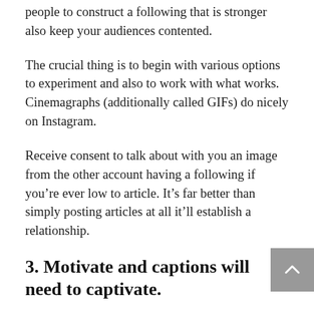people to construct a following that is stronger also keep your audiences contented.
The crucial thing is to begin with various options to experiment and also to work with what works. Cinemagraphs (additionally called GIFs) do nicely on Instagram.
Receive consent to talk about with you an image from the other account having a following if you’re ever low to article. It’s far better than simply posting articles at all it’ll establish a relationship.
3. Motivate and captions will need to captivate.
The ideal captions may go a ways, and that means you want to ensure you are with them to